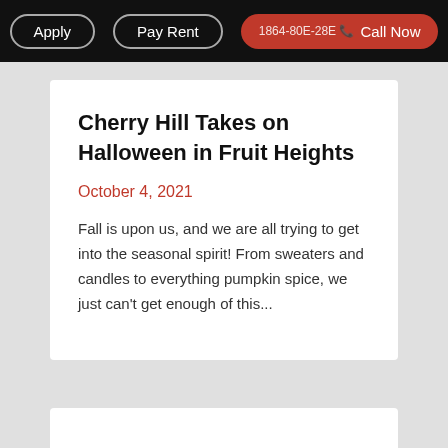Apply  Pay Rent  1864-80E-28E  Call Now
Cherry Hill Takes on Halloween in Fruit Heights
October 4, 2021
Fall is upon us, and we are all trying to get into the seasonal spirit! From sweaters and candles to everything pumpkin spice, we just can't get enough of this...